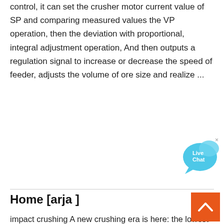control, it can set the crusher motor current value of SP and comparing measured values the VP operation, then the deviation with proportional, integral adjustment operation, And then outputs a regulation signal to increase or decrease the speed of feeder, adjusts the volume of ore size and realize ...
[Figure (illustration): Live Chat speech bubble icon in blue/cyan]
Home [arja ]
impact crushing A new crushing era is here: the lowest wear cost per ton, robustness, simplicity, easy setting system and quick maintenance, optimal cubic shape in a single machine. Built in accordance with European Standards.
[Figure (illustration): Back to top arrow button in orange]
Cedarapids CRH1316 Portable Impactor Plant